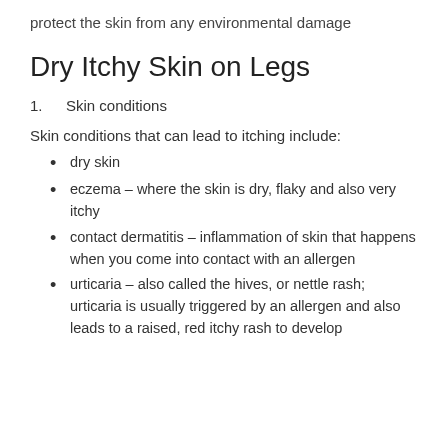protect the skin from any environmental damage
Dry Itchy Skin on Legs
1.   Skin conditions
Skin conditions that can lead to itching include:
dry skin
eczema – where the skin is dry, flaky and also very itchy
contact dermatitis – inflammation of skin that happens when you come into contact with an allergen
urticaria – also called the hives, or nettle rash; urticaria is usually triggered by an allergen and also leads to a raised, red itchy rash to develop